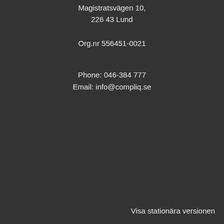Magistratsvägen 10,
226 43 Lund
Org.nr 556451-0021
Phone: 046-384 777
Email: info@compliq.se
Visa stationära versionen